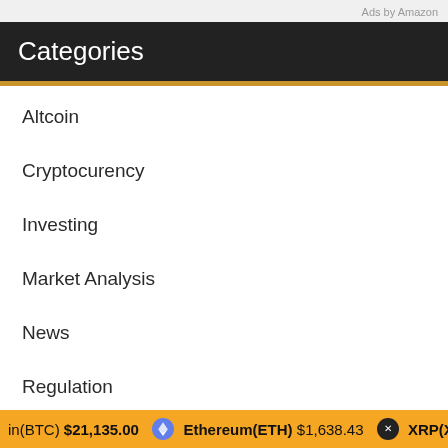Ads by Amazon
Categories
Altcoin
Cryptocurency
Investing
Market Analysis
News
Regulation
Archives
in(BTC) $21,135.00   Ethereum(ETH) $1,638.43   XRP(XRP)